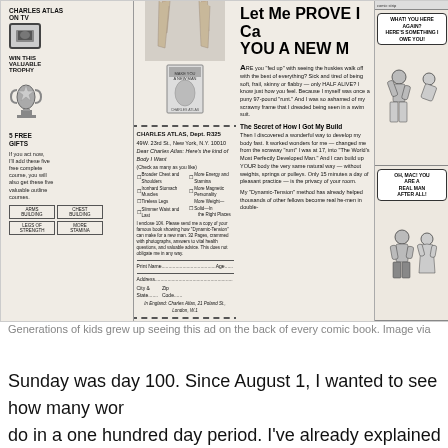[Figure (illustration): Vintage Charles Atlas 'Let Me PROVE I Can Make YOU A NEW MAN' advertisement from back of comic book. Features left column with 'Charles Atlas on TV' and TV box, trophy image, '5 FREE GIFTS' section, center column with muscular legs photo and mail-in coupon for Charles Atlas Dept. R325, 49W. 23rd St., New York, N.Y. 10010, center-right with bold headline and body copy about Dynamic-Tension method, and right column with comic strip panels showing beach bully scene with speech bubbles 'WHAT! YOU HERE AGAIN? HERE'S SOMETHING I OWE YOU!' and 'OH, MAC! YOU ARE A REAL MAN AFTER ALL!']
Generations of kids grew up seeing this ad on the back of every comic book. Image via
Sunday was day 100. Since August 1, I wanted to see how many wor do in a one hundred day period. I've already explained why I started t